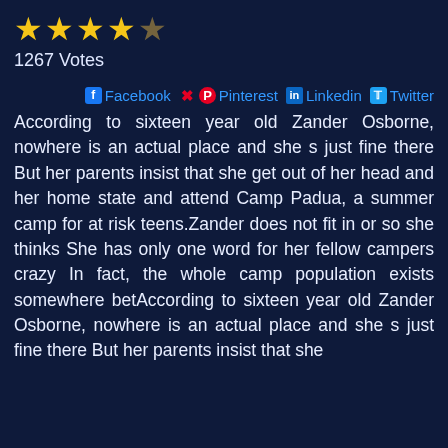[Figure (other): Star rating: 4 filled gold stars and 1 empty/outline gold star]
1267 Votes
Facebook  Pinterest  Linkedin  Twitter
According to sixteen year old Zander Osborne, nowhere is an actual place and she s just fine there But her parents insist that she get out of her head and her home state and attend Camp Padua, a summer camp for at risk teens.Zander does not fit in or so she thinks She has only one word for her fellow campers crazy In fact, the whole camp population exists somewhere betAccording to sixteen year old Zander Osborne, nowhere is an actual place and she s just fine there But her parents insist that she